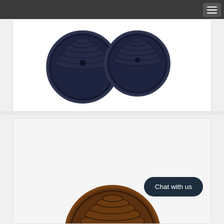Navigation menu
[Figure (photo): Blue/black plastic 70mm round soffit air vents product photo showing two dark navy circular vent covers with louvered grill design]
Blue / Black Plastic 70mm Round Soffit Air Vents Menu Options
From £6.99 GBP
[Figure (photo): Brown plastic round soffit air vent product photo showing dark brown circular vent cover with louvered grill design, partially visible]
Chat with us